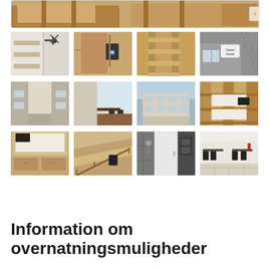[Figure (photo): Top hero image showing wooden bunk beds or furniture interior]
[Figure (photo): Grid of 12 thumbnail photos showing hostel/accommodation interior: bunk beds, ceiling fan, bathroom sign, staircase, exterior sign, street view, dining room, building exterior, bunk beds close-up, bunk bed storage, wooden staircase, shower/bathroom, outdoor terrace]
Information om overnatningsmuligheder